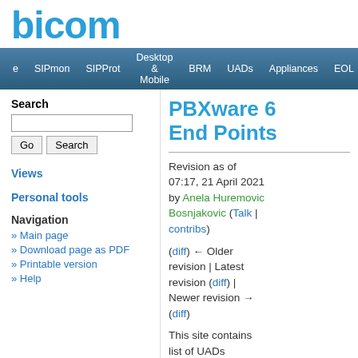[Figure (logo): Bicom Systems logo in blue text reading 'bicom']
SIPmon | SIPProt | Desktop & Mobile | BRM | UADs | Appliances | EOL
Search
Views
Personal tools
Navigation
» Main page
» Download page as PDF
» Printable version
» Help
PBXware 6 End Points
Revision as of 07:17, 21 April 2021 by Anela Huremovic Bosnjakovic (Talk | contribs)
(diff) ← Older revision | Latest revision (diff) | Newer revision → (diff)
This site contains list of UADs